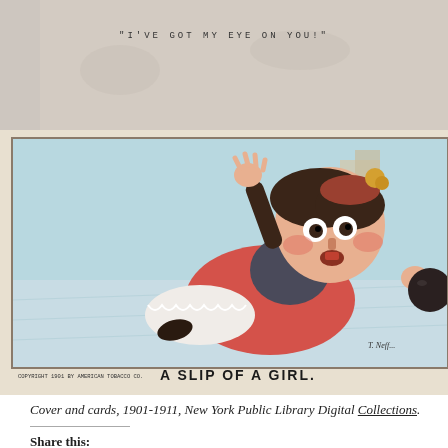[Figure (illustration): Top portion of an old tobacco card showing aged paper texture with monospace text reading "I'VE GOT MY EYE ON YOU!" centered on the card]
[Figure (illustration): Vintage comic tobacco card titled 'A SLIP OF A GIRL' showing a cartoon woman in a red/pink dress slipping and falling on ice, arms flailing, with an exaggerated surprised expression. Copyright 1901 by American Tobacco Co. Signed by artist T. Neff. Background shows icy surface and buildings.]
Cover and cards, 1901-1911, New York Public Library Digital Collections.
Share this: